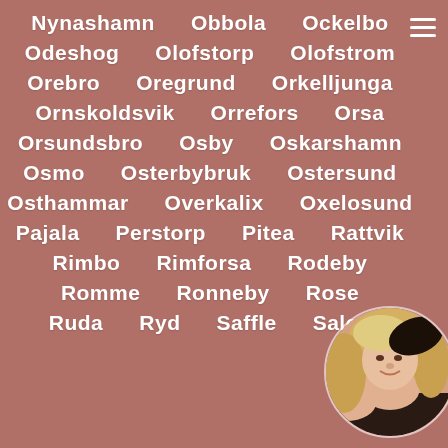Nynashamn   Obbola   Ockelbo
Odeshog   Olofstorp   Olofstrom
Orebro   Oregrund   Orkelljunga
Ornskoldsvik   Orrefors   Orsa
Orsundsbro   Osby   Oskarshamn
Osmo   Osterbybruk   Ostersund
Osthammar   Overkalix   Oxelosund
Pajala   Perstorp   Pitea   Rattvik
Rimbo   Rimforsa   Rodeby
Romme   Ronneby   Rose
Ruda   Ryd   Saffle   Salen
[Figure (photo): Circular profile photo of a blonde woman partially visible in bottom-right corner]